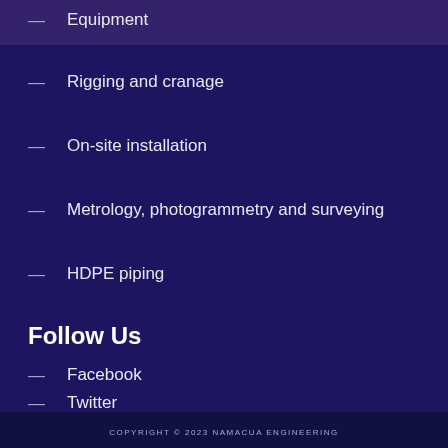Equipment
Rigging and cranage
On-site installation
Metrology, photogrammetry and surveying
HDPE piping
Follow Us
Facebook
Twitter
Instagram
COPYRIGHT © 2023 NAMACUA ENGINEERING